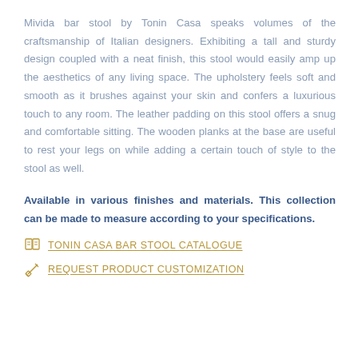Mivida bar stool by Tonin Casa speaks volumes of the craftsmanship of Italian designers. Exhibiting a tall and sturdy design coupled with a neat finish, this stool would easily amp up the aesthetics of any living space. The upholstery feels soft and smooth as it brushes against your skin and confers a luxurious touch to any room. The leather padding on this stool offers a snug and comfortable sitting. The wooden planks at the base are useful to rest your legs on while adding a certain touch of style to the stool as well.
Available in various finishes and materials. This collection can be made to measure according to your specifications.
TONIN CASA BAR STOOL CATALOGUE
REQUEST PRODUCT CUSTOMIZATION